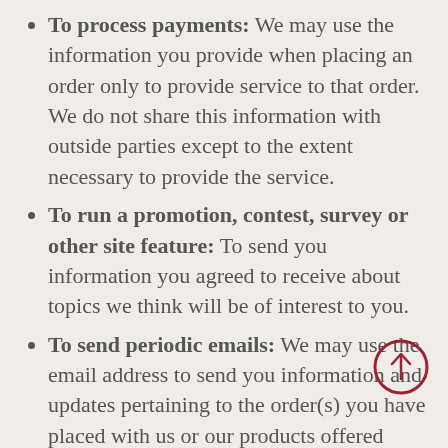To process payments: We may use the information you provide when placing an order only to provide service to that order. We do not share this information with outside parties except to the extent necessary to provide the service.
To run a promotion, contest, survey or other site feature: To send you information you agreed to receive about topics we think will be of interest to you.
To send periodic emails: We may use the email address to send you information and updates pertaining to the order(s) you have placed with us or our products offered through the website or otherwise. It may also be used to respond to your inquiries, questions, and/or other requests. If at any time you would like to